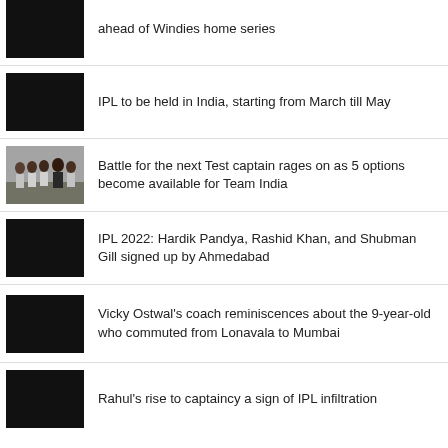ahead of Windies home series
IPL to be held in India, starting from March till May
Battle for the next Test captain rages on as 5 options become available for Team India
IPL 2022: Hardik Pandya, Rashid Khan, and Shubman Gill signed up by Ahmedabad
Vicky Ostwal's coach reminiscences about the 9-year-old who commuted from Lonavala to Mumbai
Rahul's rise to captaincy a sign of IPL infiltration